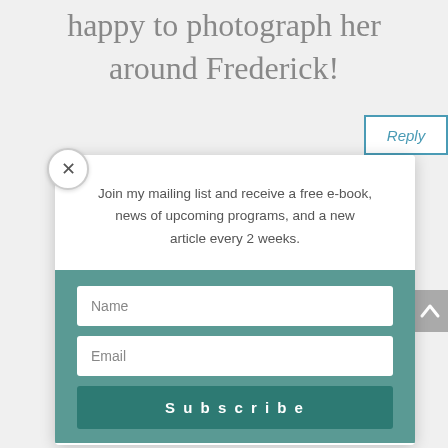happy to photograph her around Frederick!
Reply
Join my mailing list and receive a free e-book, news of upcoming programs, and a new article every 2 weeks.
Name
Email
Subscribe